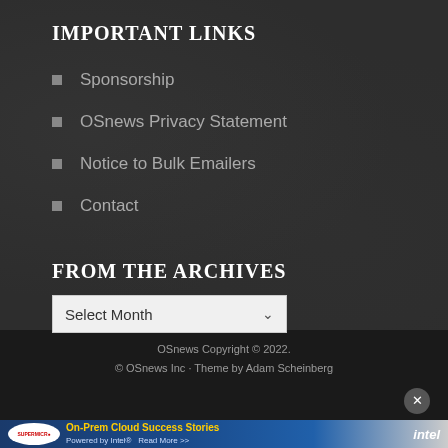IMPORTANT LINKS
Sponsorship
OSnews Privacy Statement
Notice to Bulk Emailers
Contact
FROM THE ARCHIVES
Select Month
OSnews Copyright © 2022.
© OSnews Inc · Theme by Adam Scheinberg
[Figure (infographic): Advertisement banner: Supermicro logo with text 'On-Prem Cloud Success Stories Powered by Intel® Read More >>' and Intel logo]